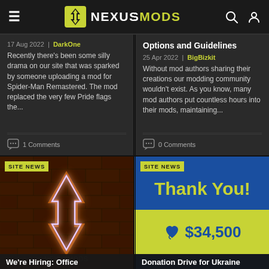NEXUSMODS
17 Aug 2022 | DarkOne
Recently there's been some silly drama on our site that was sparked by someone uploading a mod for Spider-Man Remastered. The mod replaced the very few Pride flags the...
1 Comments
Options and Guidelines
25 Apr 2022 | BigBizkit
Without mod authors sharing their creations our modding community wouldn't exist. As you know, many mod authors put countless hours into their mods, maintaining...
0 Comments
[Figure (photo): Nexus Mods neon logo glowing on brick wall background, site news card titled We're Hiring: Office]
[Figure (infographic): Thank You donation drive card showing $34,500 raised for Ukraine, blue and yellow colors, site news badge]
We're Hiring: Office
Donation Drive for Ukraine